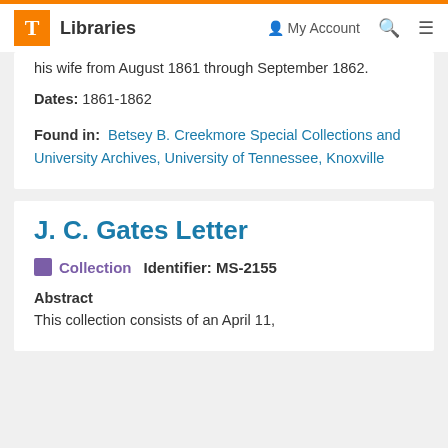T Libraries | My Account | Search | Menu
his wife from August 1861 through September 1862.
Dates: 1861-1862
Found in: Betsey B. Creekmore Special Collections and University Archives, University of Tennessee, Knoxville
J. C. Gates Letter
Collection   Identifier: MS-2155
Abstract
This collection consists of an April 11,